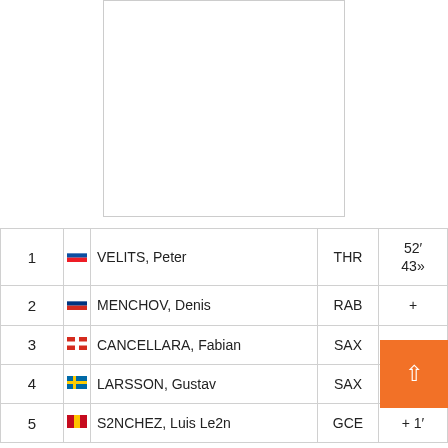[Figure (photo): Photograph placeholder area (white rectangle with border)]
| Pos |  | Name | Team | Time |
| --- | --- | --- | --- | --- |
| 1 | 🇸🇰 | VELITS, Peter | THR | 52' 43» |
| 2 | 🇷🇺 | MENCHOV, Denis | RAB | + |
| 3 | 🇨🇭 | CANCELLARA, Fabian | SAX | + 37» |
| 4 | 🇸🇪 | LARSSON, Gustav | SAX | + 50» |
| 5 | 🇪🇸 | SÁNCHEZ, Luis León | GCE | + 1' |